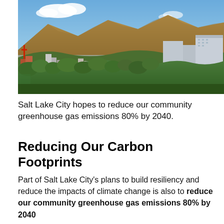[Figure (photo): Aerial/elevated view of Salt Lake City with buildings and green trees in the foreground and large brown/arid mountains in the background under a partly cloudy blue sky.]
Salt Lake City hopes to reduce our community greenhouse gas emissions 80% by 2040.
Reducing Our Carbon Footprints
Part of Salt Lake City's plans to build resiliency and reduce the impacts of climate change is also to reduce our community greenhouse gas emissions 80% by 2040